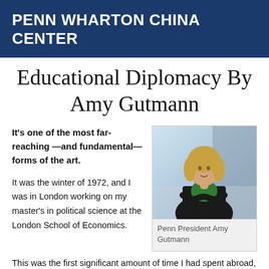PENN WHARTON CHINA CENTER
Educational Diplomacy By Amy Gutmann
It's one of the most far-reaching —and fundamental—forms of the art.
[Figure (photo): Penn President Amy Gutmann, a blonde woman in a black blazer and green top, arms crossed, smiling]
Penn President Amy Gutmann
It was the winter of 1972, and I was in London working on my master's in political science at the London School of Economics.
This was the first significant amount of time I had spent abroad, and that early plunge into another culture was—up to that point—one of the most profoundly exciting events